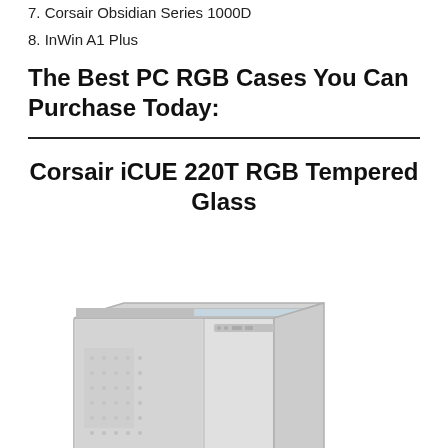7. Corsair Obsidian Series 1000D
8. InWin A1 Plus
The Best PC RGB Cases You Can Purchase Today:
Corsair iCUE 220T RGB Tempered Glass
[Figure (photo): Product photo of the Corsair iCUE 220T RGB Tempered Glass PC case in white/light gray, shown from a front-left angle. The case has a tempered glass side panel, perforated front panel, and RGB lighting strip on top. A scroll-to-top button is visible on the right side.]